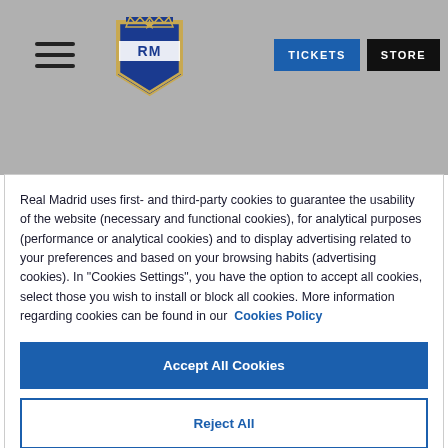[Figure (logo): Real Madrid CF crest logo in gold and blue]
TICKETS
STORE
Real Madrid uses first- and third-party cookies to guarantee the usability of the website (necessary and functional cookies), for analytical purposes (performance or analytical cookies) and to display advertising related to your preferences and based on your browsing habits (advertising cookies). In "Cookies Settings", you have the option to accept all cookies, select those you wish to install or block all cookies. More information regarding cookies can be found in our Cookies Policy
Accept All Cookies
Reject All